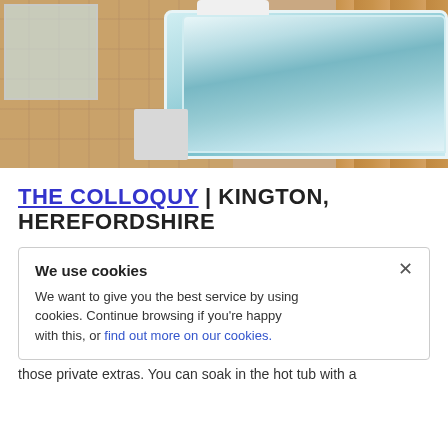[Figure (photo): Indoor hot tub with bubbling water, tiled floor in foreground, wood panel wall in background, person in white robe standing nearby, window on left]
THE COLLOQUY | KINGTON, HEREFORDSHIRE
We use cookies

We want to give you the best service by using cookies. Continue browsing if you're happy with this, or find out more on our cookies.
swimming
l retreat
sest friends.
e luxury of
those private extras. You can soak in the hot tub with a